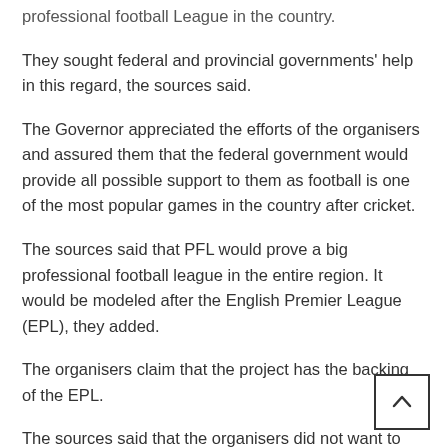professional football League in the country.
They sought federal and provincial governments' help in this regard, the sources said.
The Governor appreciated the efforts of the organisers and assured them that the federal government would provide all possible support to them as football is one of the most popular games in the country after cricket.
The sources said that PFL would prove a big professional football league in the entire region. It would be modeled after the English Premier League (EPL), they added.
The organisers claim that the project has the backing of the EPL.
The sources said that the organisers did not want to disclose all the details at this stage. When all the